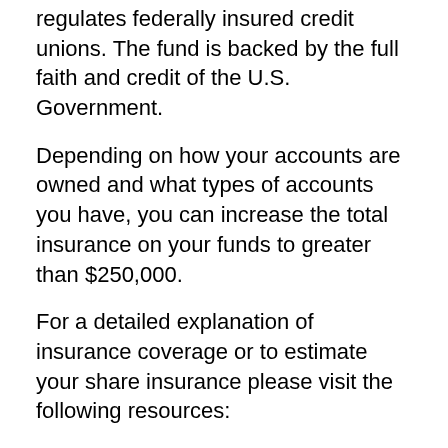regulates federally insured credit unions. The fund is backed by the full faith and credit of the U.S. Government.
Depending on how your accounts are owned and what types of accounts you have, you can increase the total insurance on your funds to greater than $250,000.
For a detailed explanation of insurance coverage or to estimate your share insurance please visit the following resources:
Share Insurance Estimator - Estimate the amount of insurance coverage you may need based on various scenarios
How Your Accounts Are Fderally Insured -